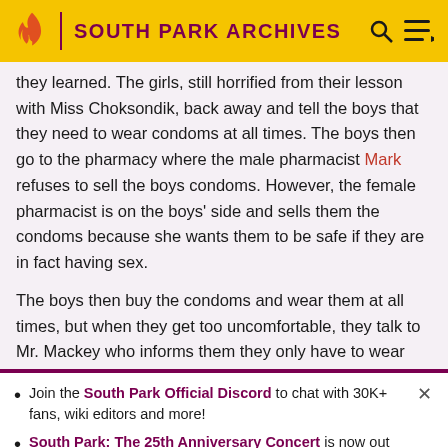SOUTH PARK ARCHIVES
they learned. The girls, still horrified from their lesson with Miss Choksondik, back away and tell the boys that they need to wear condoms at all times. The boys then go to the pharmacy where the male pharmacist Mark refuses to sell the boys condoms. However, the female pharmacist is on the boys' side and sells them the condoms because she wants them to be safe if they are in fact having sex.
The boys then buy the condoms and wear them at all times, but when they get too uncomfortable, they talk to Mr. Mackey who informs them they only have to wear
Join the South Park Official Discord to chat with 30K+ fans, wiki editors and more!
South Park: The 25th Anniversary Concert is now out on Paramount Plus and Comedy Central.